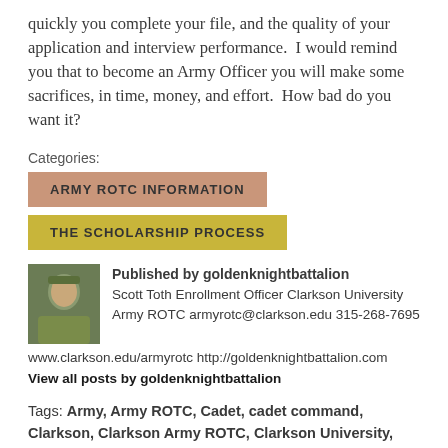quickly you complete your file, and the quality of your application and interview performance.  I would remind you that to become an Army Officer you will make some sacrifices, in time, money, and effort.  How bad do you want it?
Categories:
ARMY ROTC INFORMATION
THE SCHOLARSHIP PROCESS
Published by goldenknightbattalion
Scott Toth Enrollment Officer Clarkson University Army ROTC armyrotc@clarkson.edu 315-268-7695 www.clarkson.edu/armyrotc http://goldenknightbattalion.com
View all posts by goldenknightbattalion
Tags: Army, Army ROTC, Cadet, cadet command, Clarkson, Clarkson Army ROTC, Clarkson University, Commitment, GKB, Golden Knight Battalion, Reserve Officers Training